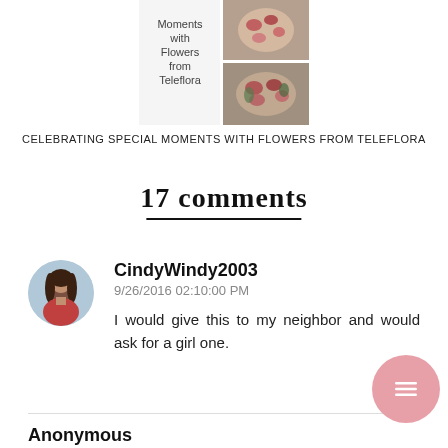[Figure (photo): Collage image showing flower arrangements with text 'Moments with Flowers from Teleflora']
CELEBRATING SPECIAL MOMENTS WITH FLOWERS FROM TELEFLORA
17 comments
CindyWindy2003
9/26/2016 02:10:00 PM
I would give this to my neighbor and would ask for a girl one.
Anonymous